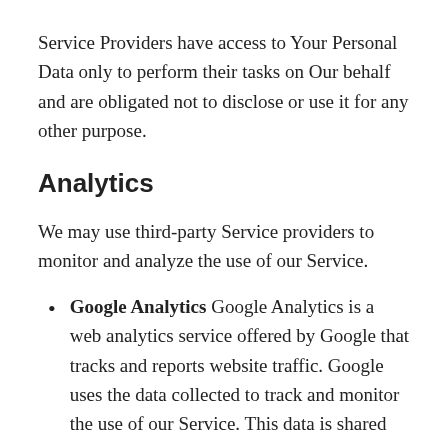Service Providers have access to Your Personal Data only to perform their tasks on Our behalf and are obligated not to disclose or use it for any other purpose.
Analytics
We may use third-party Service providers to monitor and analyze the use of our Service.
Google Analytics Google Analytics is a web analytics service offered by Google that tracks and reports website traffic. Google uses the data collected to track and monitor the use of our Service. This data is shared